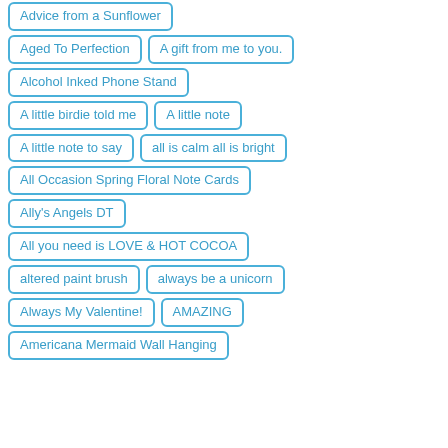Advice from a Sunflower
Aged To Perfection
A gift from me to you.
Alcohol Inked Phone Stand
A little birdie told me
A little note
A little note to say
all is calm all is bright
All Occasion Spring Floral Note Cards
Ally's Angels DT
All you need is LOVE & HOT COCOA
altered paint brush
always be a unicorn
Always My Valentine!
AMAZING
Americana Mermaid Wall Hanging